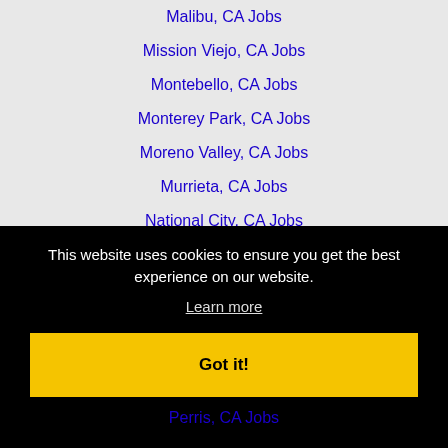Malibu, CA Jobs
Mission Viejo, CA Jobs
Montebello, CA Jobs
Monterey Park, CA Jobs
Moreno Valley, CA Jobs
Murrieta, CA Jobs
National City, CA Jobs
Newport Beach, CA Jobs
Norwalk, CA Jobs
Oceanside, CA Jobs
This website uses cookies to ensure you get the best experience on our website.
Learn more
Got it!
Perris, CA Jobs